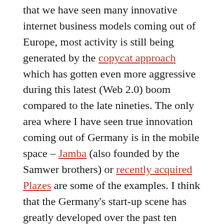that we have seen many innovative internet business models coming out of Europe, most activity is still being generated by the copycat approach which has gotten even more aggressive during this latest (Web 2.0) boom compared to the late nineties. The only area where I have seen true innovation coming out of Germany is in the mobile space – Jamba (also founded by the Samwer brothers) or recently acquired Plazes are some of the examples. I think that the Germany's start-up scene has greatly developed over the past ten years but there is still much to do – and most importantly, we need more innovation and more (serial) entrepreneurs.
Share this: